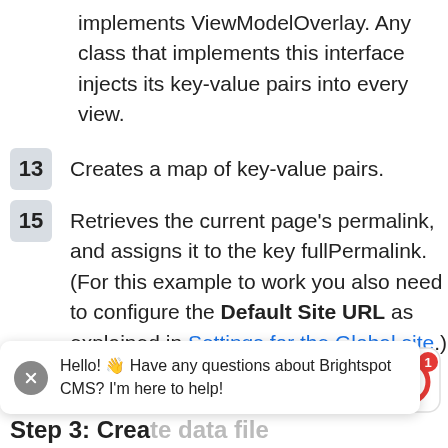implements ViewModelOverlay. Any class that implements this interface injects its key-value pairs into every view.
13  Creates a map of key-value pairs.
15  Retrieves the current page's permalink, and assigns it to the key fullPermalink. (For this example to work you also need to configure the Default Site URL as explained in Settings for the Global site.) You can add any number of key-value pairs to the overlay.
Step 3: Create data file